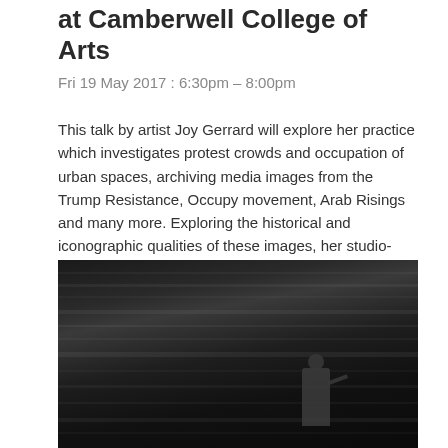at Camberwell College of Arts
Fri 19 May 2017 : 6:30pm – 8:00pm
This talk by artist Joy Gerrard will explore her practice which investigates protest crowds and occupation of urban spaces, archiving media images from the Trump Resistance, Occupy movement, Arab Risings and many more. Exploring the historical and iconographic qualities of these images, her studio-based work (re)presents them in detailed pen and ink drawings, and more recently large ink works on canvas.Camberwell College of Art, 1 Wilson Road London SE5 8LU
[Figure (photo): Black and white photograph/ink artwork showing a dramatic dark scene with a silhouetted figure standing in what appears to be an urban or architectural space with strong horizontal linear elements and high contrast ink-like rendering.]